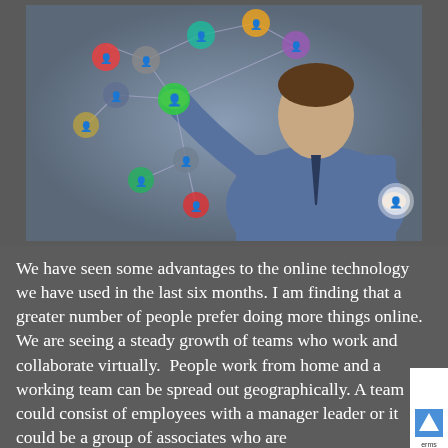[Figure (photo): A man in a blue shirt and tie interacting with a virtual network of people icons connected by lines, representing online collaboration and digital networking technology.]
We have seen some advantages to the online technology we have used in the last six months. I am finding that a greater number of people prefer doing more things online. We are seeing a steady growth of teams who work and collaborate virtually.  People work from home and a working team can be spread out geographically. A team could consist of employees with a manager leader or it could be a group of associates who are